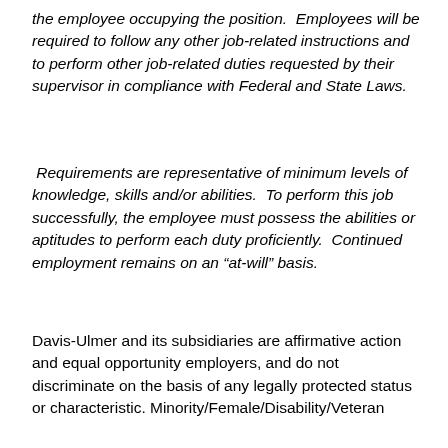the employee occupying the position.  Employees will be required to follow any other job-related instructions and to perform other job-related duties requested by their supervisor in compliance with Federal and State Laws.
Requirements are representative of minimum levels of knowledge, skills and/or abilities.  To perform this job successfully, the employee must possess the abilities or aptitudes to perform each duty proficiently.  Continued employment remains on an “at-will” basis.
Davis-Ulmer and its subsidiaries are affirmative action and equal opportunity employers, and do not discriminate on the basis of any legally protected status or characteristic. Minority/Female/Disability/Veteran